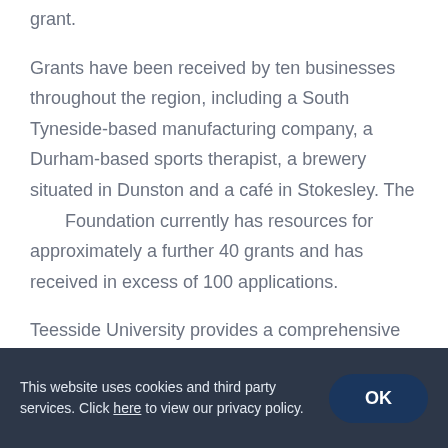grant.
Grants have been received by ten businesses throughout the region, including a South Tyneside-based manufacturing company, a Durham-based sports therapist, a brewery situated in Dunston and a café in Stokesley. The Foundation currently has resources for approximately a further 40 grants and has received in excess of 100 applications.
Teesside University provides a comprehensive offer to businesses including an Open North Foundation
This website uses cookies and third party services. Click here to view our privacy policy.